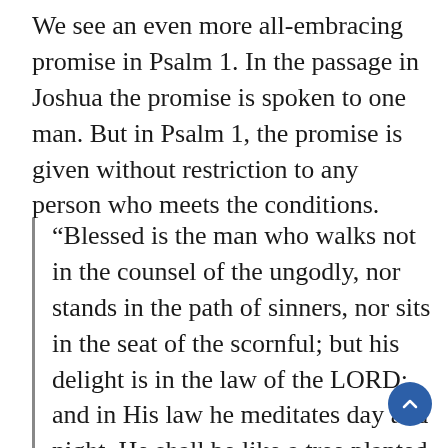We see an even more all-embracing promise in Psalm 1. In the passage in Joshua the promise is spoken to one man. But in Psalm 1, the promise is given without restriction to any person who meets the conditions.
“Blessed is the man who walks not in the counsel of the ungodly, nor stands in the path of sinners, nor sits in the seat of the scornful; but his delight is in the law of the LORD; and in His law he meditates day and night. He shall be like a tree planted by the rivers of water, that brings forth its fruit in its season, whose leaf also shall not wither; and whatever he